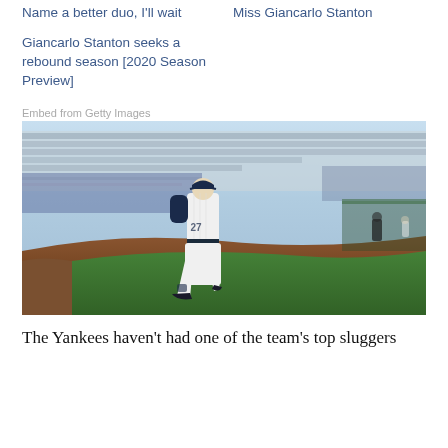Name a better duo, I'll wait
Miss Giancarlo Stanton
Giancarlo Stanton seeks a rebound season [2020 Season Preview]
Embed from Getty Images
[Figure (photo): Giancarlo Stanton in New York Yankees uniform jogging on the field at Yankee Stadium with packed stands in the background]
The Yankees haven't had one of the team's top sluggers